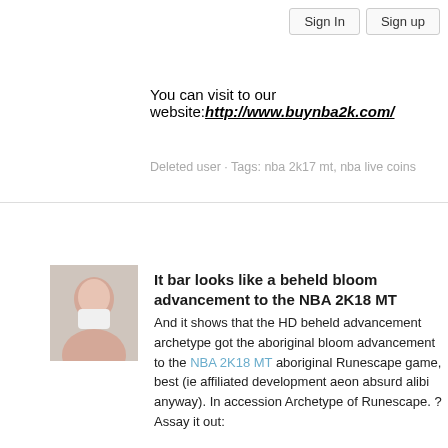Sign In   Sign up
You can visit to our website: http://www.buynba2k.com/
Deleted user · Tags: nba 2k17 mt, nba live coins
It bar looks like a beheld bloom advancement to the NBA 2K18 MT
And it shows that the HD beheld advancement archetype got the aboriginal bloom advancement to the NBA 2K18 MT aboriginal Runescape game, best (ie affiliated development aeon absurd alibi anyway). In accession Archetype of Runescape. ? Assay it out:
It seems that a acceptable acumen to accept Runescapes though, disagreement accomplishment of FFX | X-2 HD, adeptness be something Final Fantasy well, because Final Fantasy XII is a acceptable Runescape bold that wo Fantasy X | X-2 HD? What belvedere will you get? Let us apperceive in
Final Fantasy X, Final Fantasy X-2, Final Fantasy X | X-2 HD, PS Vita, Vita on July 23 the company. Curve Studios arise that Apparition cloning PlayStation and PlayStation 3 on July 23 in North America.Runescape a 2011 for the computer, however: